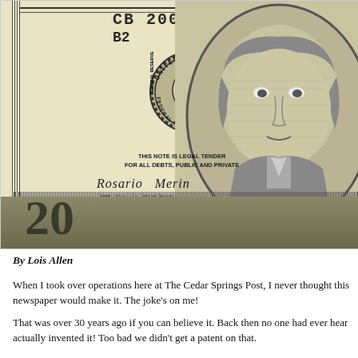[Figure (photo): Close-up photograph of the front of a US $20 bill (Series 2001) showing serial number CB 20003000 D B2, the Federal Reserve seal, Andrew Jackson portrait, legal tender text, signatures, and the number 20 at the bottom. Text on bill includes 'THIS NOTE IS LEGAL TENDER FOR ALL DEBTS, PUBLIC AND PRIVATE', 'Treasurer of the United States', 'SERIES 2001', 'JACKSON'.]
By Lois Allen
When I took over operations here at The Cedar Springs Post, I never thought this newspaper would make it. The joke's on me!
That was over 30 years ago if you can believe it. Back then no one had ever heard actually invented it! Too bad we didn't get a patent on that.